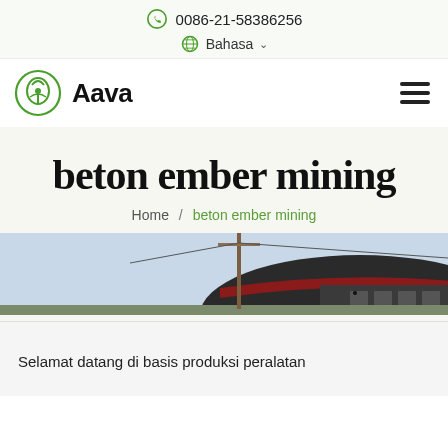0086-21-58386256
Bahasa
[Figure (logo): Aava brand logo: green circular leaf/plant icon with bold text 'Aava']
beton ember mining
Home / beton ember mining
[Figure (photo): Partial photo of a large industrial warehouse/shed with dark roof, red stripe, and utility pole in foreground]
Selamat datang di basis produksi peralatan